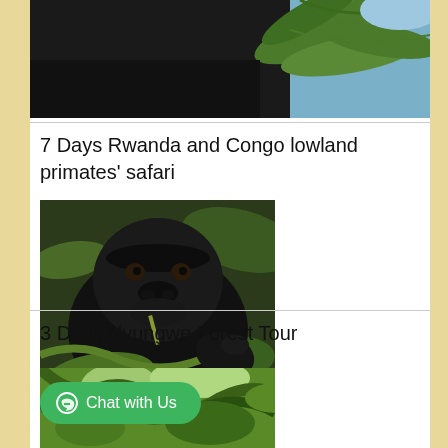[Figure (photo): Partial photo of a gorilla/primate near fern leaves, cropped at top of page]
7 Days Rwanda and Congo lowland primates' safari
[Figure (photo): Close-up photo of a mountain gorilla eating vegetation, looking towards camera]
3 Days Nyungwe Forest Tour
[Figure (photo): Partial photo of green forest/tree canopy, cropped at bottom of page]
Chat with Us